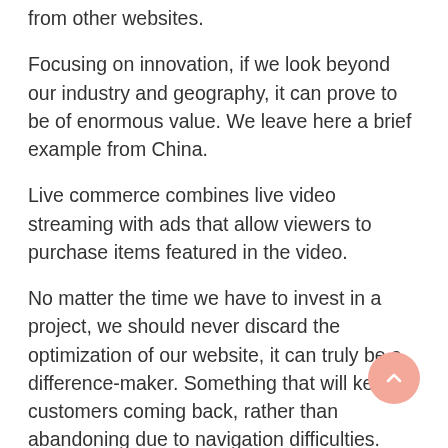from other websites.
Focusing on innovation, if we look beyond our industry and geography, it can prove to be of enormous value. We leave here a brief example from China.
Live commerce combines live video streaming with ads that allow viewers to purchase items featured in the video.
No matter the time we have to invest in a project, we should never discard the optimization of our website, it can truly be a difference-maker. Something that will keep customers coming back, rather than abandoning due to navigation difficulties.
For the above factors, we collect a bunch of the most relevant...